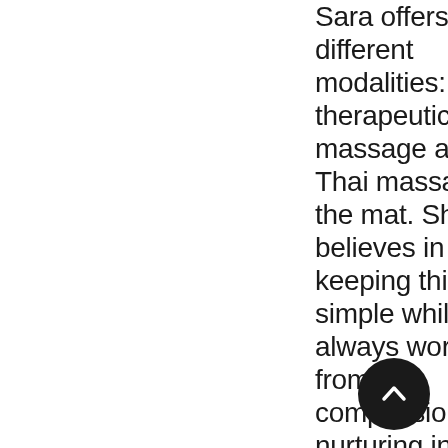Sara offers two different modalities: therapeutic table massage and Thai massage on the mat. She believes in keeping things simple while always working from a compassionate, nurturing intent. Sara understands that every client she encounters has different and specific
[Figure (other): Dark circular scroll-to-top button with upward chevron arrow icon]